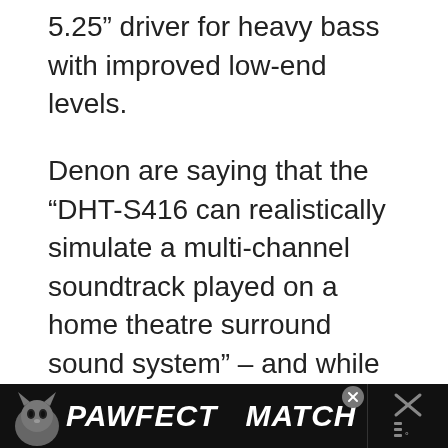5.25” driver for heavy bass with improved low-end levels.
Denon are saying that the “DHT-S416 can realistically simulate a multi-channel soundtrack played on a home theatre surround sound system” – and while I’m always sceptical of these virtual surround sound simulators, Denon have a history of delivering on their audio promises – so we’ll have to wait and see hear.
[Figure (other): Advertisement banner for PAWFECT MATCH showing a cat graphic, with a close button and additional icon on the right side]